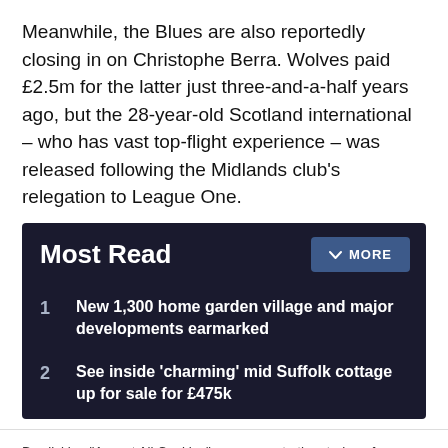Meanwhile, the Blues are also reportedly closing in on Christophe Berra. Wolves paid £2.5m for the latter just three-and-a-half years ago, but the 28-year-old Scotland international – who has vast top-flight experience – was released following the Midlands club's relegation to League One.
Most Read
1. New 1,300 home garden village and major developments earmarked
2. See inside 'charming' mid Suffolk cottage up for sale for £475k
By clicking "Accept All Cookies", you agree to the storing of cookies on your device to enhance site navigation, analyze site usage, and assist in our marketing efforts.